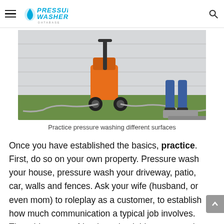Pressure Washer Database
[Figure (photo): A person using an orange gas-powered pressure washer on a lawn next to a building wall, with hoses visible on the ground.]
Practice pressure washing different surfaces
Once you have established the basics, practice. First, do so on your own property. Pressure wash your house, pressure wash your driveway, patio, car, walls and fences. Ask your wife (husband, or even mom) to roleplay as a customer, to establish how much communication a typical job involves. Then, hit up your friends and neighbors to practice on new territories. They will surely be eager to let you wash their stuff for